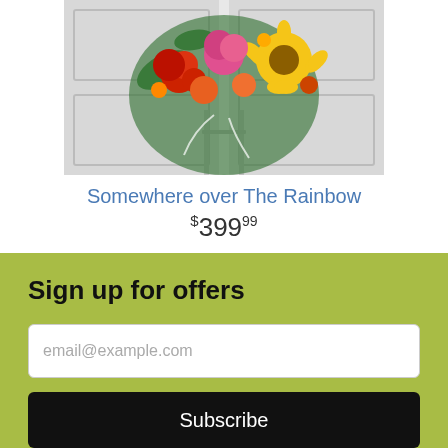[Figure (photo): A floral arrangement on a stand with colorful flowers including sunflowers, roses, and other blooms in orange, red, yellow, and pink, displayed against a white door background.]
Somewhere over The Rainbow
$399.99
Sign up for offers
email@example.com
Subscribe